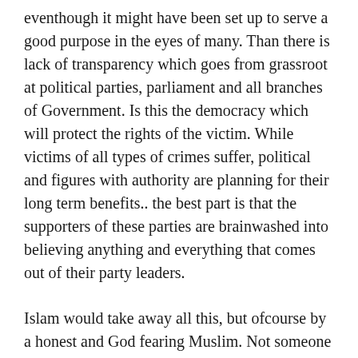eventhough it might have been set up to serve a good purpose in the eyes of many. Than there is lack of transparency which goes from grassroot at political parties, parliament and all branches of Government. Is this the democracy which will protect the rights of the victim. While victims of all types of crimes suffer, political and figures with authority are planning for their long term benefits.. the best part is that the supporters of these parties are brainwashed into believing anything and everything that comes out of their party leaders.
Islam would take away all this, but ofcourse by a honest and God fearing Muslim. Not someone who can just talk big or has a lot of money. We humans are the weakest in choosing a right person to vote for during election time. We do not realize the magnitude of our decisions until its too late. Even than, some of us try to choose the lesser evil instead